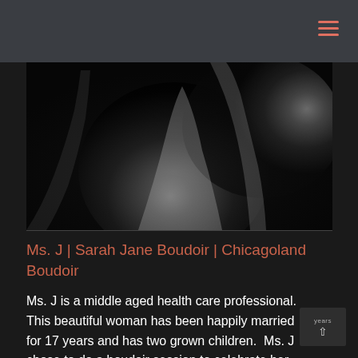[Figure (photo): Black and white artistic boudoir photograph showing abstract curves of a human figure against a dark background]
Ms. J | Sarah Jane Boudoir | Chicagoland Boudoir
Ms. J is a middle aged health care professional.  This beautiful woman has been happily married for 17 years and has two grown children.  Ms. J chose to do a boudoir session to celebrate her body.  An added bonus